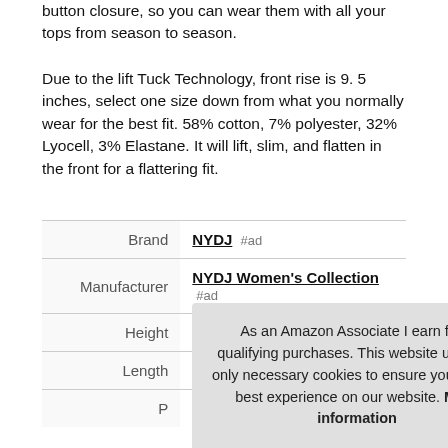button closure, so you can wear them with all your tops from season to season.
Due to the lift Tuck Technology, front rise is 9. 5 inches, select one size down from what you normally wear for the best fit. 58% cotton, 7% polyester, 32% Lyocell, 3% Elastane. It will lift, slim, and flatten in the front for a flattering fit.
|  |  |
| --- | --- |
| Brand | NYDJ #ad |
| Manufacturer | NYDJ Women's Collection #ad |
| Height | 6 Inches |
| Length | 9 Inches |
| P |  |
As an Amazon Associate I earn from qualifying purchases. This website uses the only necessary cookies to ensure you get the best experience on our website. More information